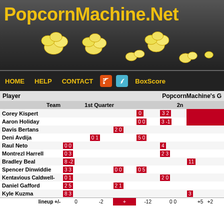PopcornMachine.Net
HOME  HELP  CONTACT  BoxScore
| Player | Team | 1st Quarter | 2nd... |
| --- | --- | --- | --- |
| Corey Kispert |  | 0 3 2 |  |
| Aaron Holiday |  | 0 0 3 -1 |  |
| Davis Bertans |  | 2 0 |  |
| Deni Avdija |  | 0 1 | 5 0 |
| Raul Neto |  | 0 0 | 4 |
| Montrezl Harrell |  | 0 3 | 2 3 |
| Bradley Beal |  | 8 -2 | 11 |
| Spencer Dinwiddie |  | 3 3 | 0 0 0 5 |
| Kentavious Caldwell- |  | 0 1 | 2 0 |
| Daniel Gafford |  | 2 5 | 2 1 |
| Kyle Kuzma |  | 8 3 | 3 |
| lineup +/- |  | 0  -2  +  -12  0 0  +5  +2 |  |